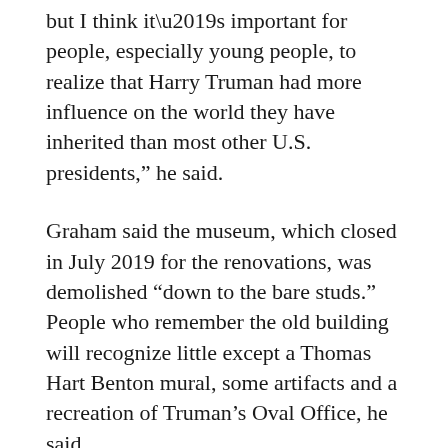but I think it’s important for people, especially young people, to realize that Harry Truman had more influence on the world they have inherited than most other U.S. presidents,” he said.
Graham said the museum, which closed in July 2019 for the renovations, was demolished “down to the bare studs.” People who remember the old building will recognize little except a Thomas Hart Benton mural, some artifacts and a recreation of Truman’s Oval Office, he said.
After starting in the new 3,000-square-foot Grandview Hall entrance, visitors first see Truman giving a speech in 1945 when he was running as Franklin Delano Roosevelt’s vice president. FDR died only 82 days into that term, leaving the world wondering, “who is this